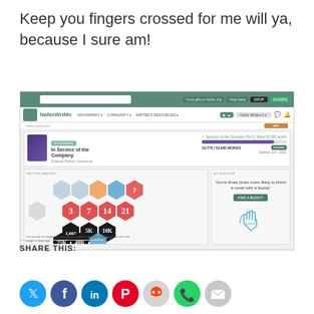Keep you fingers crossed for me will ya, because I sure am!
[Figure (screenshot): NaNoWriMo website screenshot showing a user's novel 'In Service of the Company' progress page with writing badges and a buddy recommendation panel.]
SHARE THIS:
[Figure (infographic): Row of social media share icons: Twitter, Facebook, LinkedIn, Pinterest, Reddit, WhatsApp, Email]